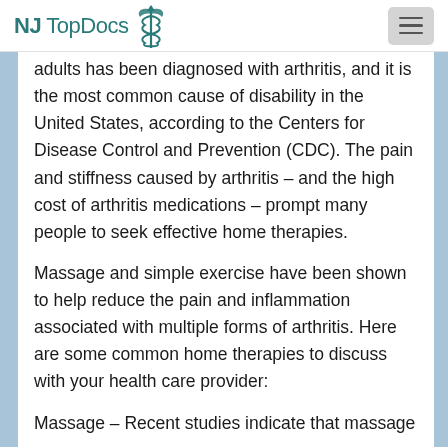NJ Top Docs
adults has been diagnosed with arthritis, and it is the most common cause of disability in the United States, according to the Centers for Disease Control and Prevention (CDC). The pain and stiffness caused by arthritis – and the high cost of arthritis medications – prompt many people to seek effective home therapies.
Massage and simple exercise have been shown to help reduce the pain and inflammation associated with multiple forms of arthritis. Here are some common home therapies to discuss with your health care provider:
Massage – Recent studies indicate that massage